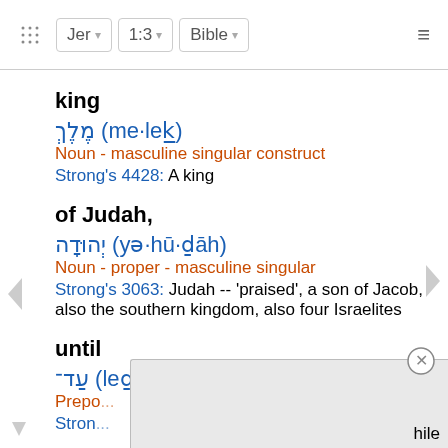Jer  1:3  Bible
king
מֶלֶךְ (me·lek̲)
Noun - masculine singular construct
Strong's 4428: A king
of Judah,
יְהוּדָה (yə·hū·ḏāh)
Noun - proper - masculine singular
Strong's 3063: Judah -- 'praised', a son of Jacob, also the southern kingdom, also four Israelites
until
עַד־ (leḏ-)
Prepo...
Stron... hile